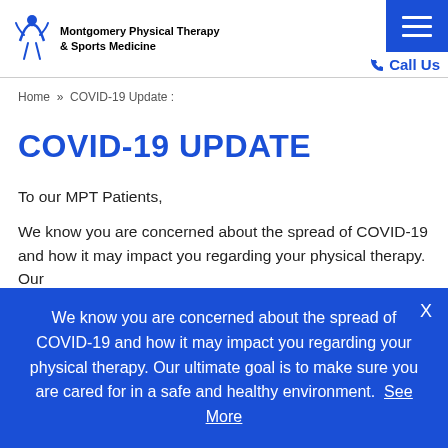Montgomery Physical Therapy & Sports Medicine
Home » COVID-19 Update :
COVID-19 UPDATE
To our MPT Patients,
We know you are concerned about the spread of COVID-19 and how it may impact you regarding your physical therapy. Our
We know you are concerned about the spread of COVID-19 and how it may impact you regarding your physical therapy. Our ultimate goal is to make sure you are cared for in a safe and healthy environment. See More